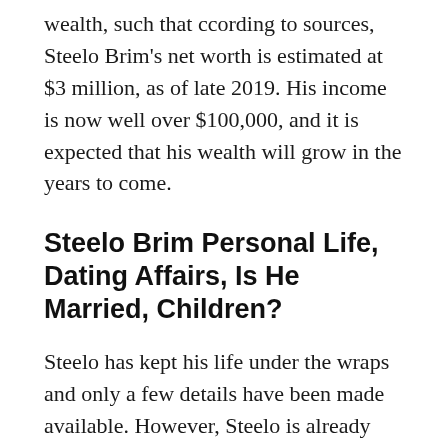wealth, such that ccording to sources, Steelo Brim's net worth is estimated at $3 million, as of late 2019. His income is now well over $100,000, and it is expected that his wealth will grow in the years to come.
Steelo Brim Personal Life, Dating Affairs, Is He Married, Children?
Steelo has kept his life under the wraps and only a few details have been made available. However, Steelo is already taken, though not married. Since 2017, Steelo has been in a relationship with the fashion designer, Conna Walker, the owner of her own design…